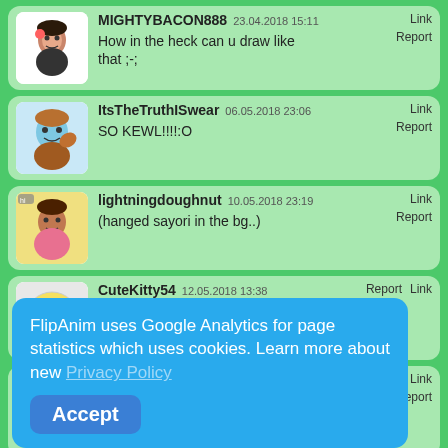MIGHTYBACON888 23.04.2018 15:11 Link Report
How in the heck can u draw like that ;-;
ItsTheTruthISwear 06.05.2018 23:06 Link Report
SO KEWL!!!!:O
lightningdoughnut 10.05.2018 23:19 Link Report
(hanged sayori in the bg..)
CuteKitty54 12.05.2018 13:38 Report Link
this.is.amazing.
facelessmaski 26.05.2018 22:45 Link Report
if you look good you can see
FlipAnim uses Google Analytics for page statistics which uses cookies. Learn more about new Privacy Policy
Accept